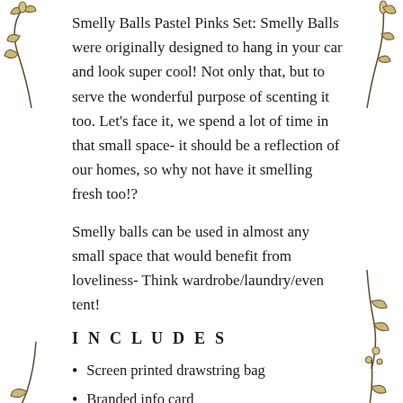Smelly Balls Pastel Pinks Set: Smelly Balls were originally designed to hang in your car and look super cool! Not only that, but to serve the wonderful purpose of scenting it too. Let's face it, we spend a lot of time in that small space- it should be a reflection of our homes, so why not have it smelling fresh too!?
Smelly balls can be used in almost any small space that would benefit from loveliness- Think wardrobe/laundry/even tent!
I N C L U D E S
Screen printed drawstring bag
Branded info card
Coco Daydream Kraft box (packaging for your smelly balls)
Your Smelly Balls (line of 4 unscented felt balls)
Large 15ml Scent Bottle topped up with amazing